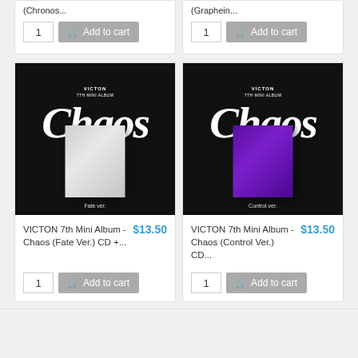(Chronos...
(Graphein...
[Figure (photo): VICTON 7th Mini Album - Chaos (Fate Ver.) CD album cover on black background with white brushstroke Chaos text and white/grey album box]
VICTON 7th Mini Album - Chaos (Fate Ver.) CD +...
$13.50
[Figure (photo): VICTON 7th Mini Album - Chaos (Control Ver.) CD album cover on black background with white brushstroke Chaos text and purple album box]
VICTON 7th Mini Album - Chaos (Control Ver.) CD...
$13.50